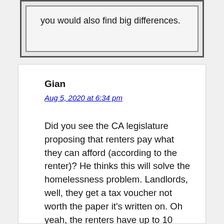you would also find big differences.
Gian
Aug 5, 2020 at 6:34 pm
Did you see the CA legislature proposing that renters pay what they can afford (according to the renter)? He thinks this will solve the homelessness problem. Landlords, well, they get a tax voucher not worth the paper it’s written on. Oh yeah, the renters have up to 10 years, yes 10, to make good on the difference between actual rent and “affordable” rent. If this happens, I will contribute to the homeless problem by selling my rentals in CA and I suspect many others will as well. Never allow a politician to attempt to solve any socioeconomic